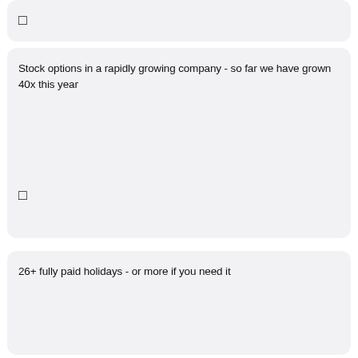[Figure (other): Checkbox icon (empty square) in a light gray card at top]
Stock options in a rapidly growing company - so far we have grown 40x this year
26+ fully paid holidays - or more if you need it